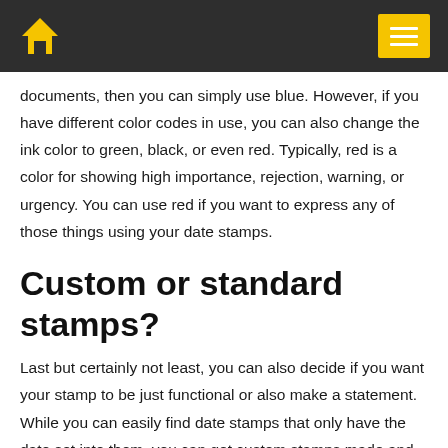Home icon and menu icon
documents, then you can simply use blue. However, if you have different color codes in use, you can also change the ink color to green, black, or even red. Typically, red is a color for showing high importance, rejection, warning, or urgency. You can use red if you want to express any of those things using your date stamps.
Custom or standard stamps?
Last but certainly not least, you can also decide if you want your stamp to be just functional or also make a statement. While you can easily find date stamps that only have the date set into them, you can get custom stamps made and contain other stuff like company logos, custom designs, and even different fonts.